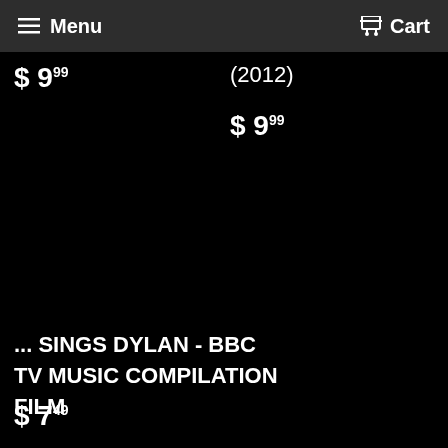Menu  Cart
$ 9 99
(2012)
$ 9 99
... SINGS DYLAN - BBC TV MUSIC COMPILATION FILM
$ 7 49